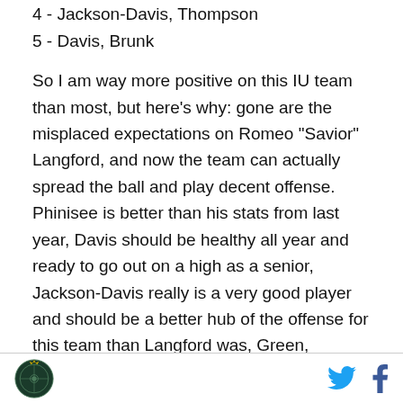4 - Jackson-Davis, Thompson
5 - Davis, Brunk
So I am way more positive on this IU team than most, but here’s why: gone are the misplaced expectations on Romeo “Savior” Langford, and now the team can actually spread the ball and play decent offense. Phinisee is better than his stats from last year, Davis should be healthy all year and ready to go out on a high as a senior, Jackson-Davis really is a very good player and should be a better hub of the offense for this team than Langford was, Green, Durham, Hunter, and Smith should all find themselves a bit more this year now that they all get to step out of the shadows,
Logo and social media icons